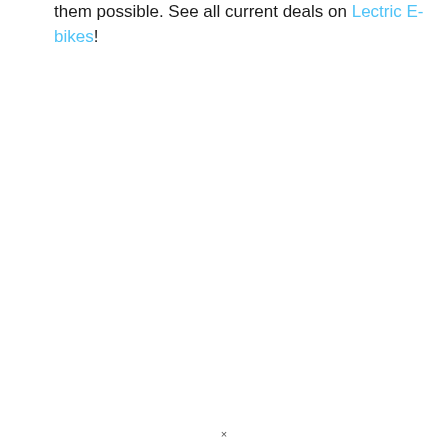them possible. See all current deals on Lectric E-bikes!
×